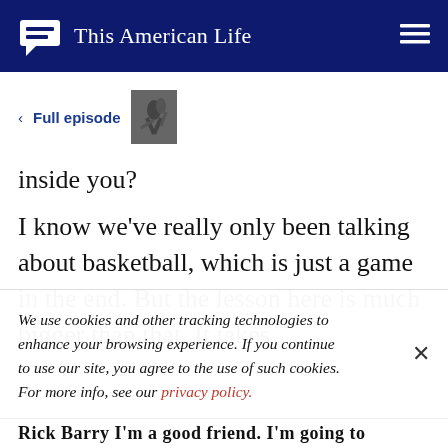This American Life
< Full episode
inside you?
I know we've really only been talking about basketball, which is just a game in the end. But the lesson here is much bigger than that. It takes
We use cookies and other tracking technologies to enhance your browsing experience. If you continue to use our site, you agree to the use of such cookies. For more info, see our privacy policy.
Rick Barry I'm a good friend. I'm going to